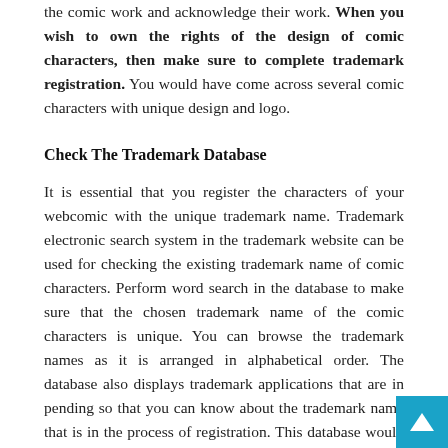the comic work and acknowledge their work. When you wish to own the rights of the design of comic characters, then make sure to complete trademark registration. You would have come across several comic characters with unique design and logo.
Check The Trademark Database
It is essential that you register the characters of your webcomic with the unique trademark name. Trademark electronic search system in the trademark website can be used for checking the existing trademark name of comic characters. Perform word search in the database to make sure that the chosen trademark name of the comic characters is unique. You can browse the trademark names as it is arranged in alphabetical order. The database also displays trademark applications that are in pending so that you can know about the trademark name that is in the process of registration. This database would be useful for choosing a unique trademark name for your webcomic characters
Fill The Application